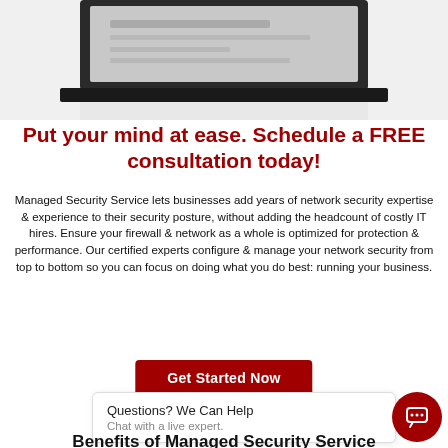[Figure (photo): Partial view of a laptop computer, showing the top of the screen and keyboard, with a reflection beneath on a white surface.]
Put your mind at ease. Schedule a FREE consultation today!
Managed Security Service lets businesses add years of network security expertise & experience to their security posture, without adding the headcount of costly IT hires. Ensure your firewall & network as a whole is optimized for protection & performance. Our certified experts configure & manage your network security from top to bottom so you can focus on doing what you do best: running your business.
Get Started Now
Questions? We Can Help
Chat with a live expert.
Benefits of Managed Security Service